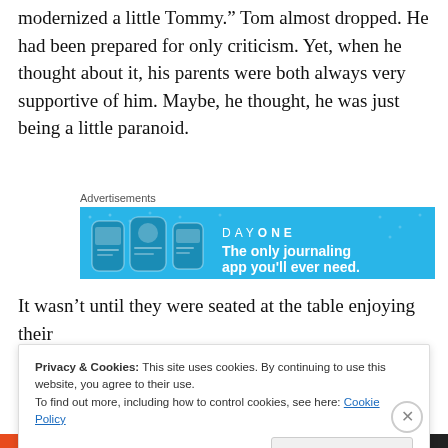modernized a little Tommy.” Tom almost dropped. He had been prepared for only criticism. Yet, when he thought about it, his parents were both always very supportive of him. Maybe, he thought, he was just being a little paranoid.
[Figure (other): Advertisement banner for Day One journaling app with blue background, showing app icons and text 'The only journaling app you’ll ever need.']
It wasn’t until they were seated at the table enjoying their coffee and muffins that Sylvia did start in about their living
Privacy & Cookies: This site uses cookies. By continuing to use this website, you agree to their use.
To find out more, including how to control cookies, see here: Cookie Policy
Close and accept